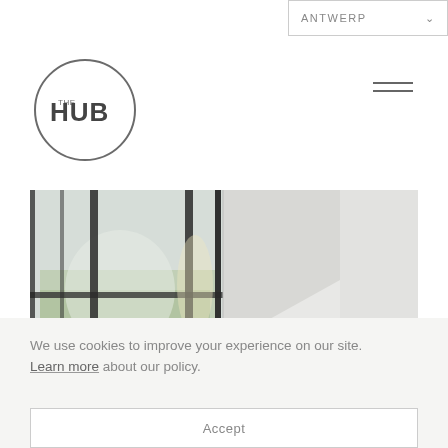ANTWERP
[Figure (logo): THE HUB logo — circular outline with 'THE HUB' text inside]
[Figure (photo): Interior architectural photo showing large black-framed windows with trees visible outside on the left, and a clean white wall/room on the right]
We use cookies to improve your experience on our site. Learn more about our policy.
Accept